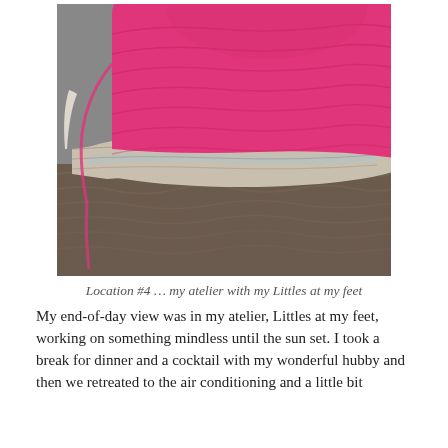[Figure (photo): Close-up photograph of crocheted hats stacked together. The top hat is bright pink/magenta with a textured crochet pattern. Below it are lighter-colored hats in cream/beige and a mottled gray-brown, with a blue-flecked yarn visible between layers. The hats rest on a gray fabric surface.]
Location #4 … my atelier with my Littles at my feet
My end-of-day view was in my atelier, Littles at my feet, working on something mindless until the sun set. I took a break for dinner and a cocktail with my wonderful hubby and then we retreated to the air conditioning and a little bit of late night TV. My end-of-day view was in my atelier, Littles at my feet, working on something mindless until the sun set.